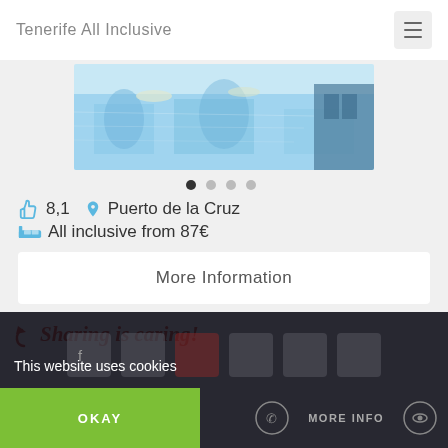Tenerife All Inclusive
[Figure (photo): Hotel pool area with blue water and reflections of palm trees, partial view]
8,1   Puerto de la Cruz
All inclusive from 87€
More Information
Sharing is caring!
This website uses cookies
OKAY
MORE INFO